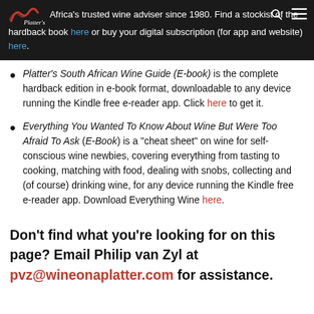Africa's trusted wine adviser since 1980. Find a stockist of the hardback book here or buy your digital subscription (for app and website) here.
Platter's South African Wine Guide (E-book) is the complete hardback edition in e-book format, downloadable to any device running the Kindle free e-reader app. Click here to get it.
Everything You Wanted To Know About Wine But Were Too Afraid To Ask (E-Book) is a "cheat sheet" on wine for self-conscious wine newbies, covering everything from tasting to cooking, matching with food, dealing with snobs, collecting and (of course) drinking wine, for any device running the Kindle free e-reader app. Download Everything Wine here.
Don't find what you're looking for on this page? Email Philip van Zyl at pvz@wineonaplatter.com for assistance.